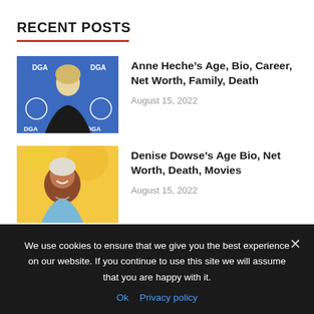RECENT POSTS
Anne Heche’s Age, Bio, Career, Net Worth, Family, Death — August 15, 2022
Denise Dowse’s Age Bio, Net Worth, Death, Movies — August 15, 2022
Angus Cloud’s Age, Bio, Career, Net...
We use cookies to ensure that we give you the best experience on our website. If you continue to use this site we will assume that you are happy with it.
Ok   Privacy policy